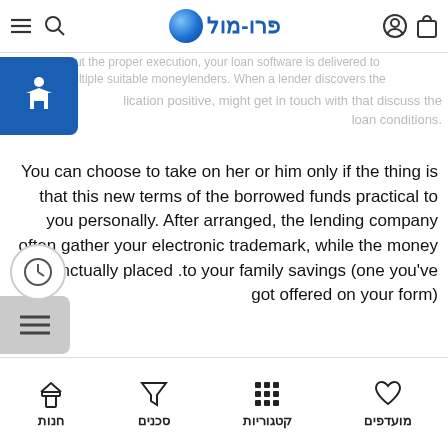פרו-מול (Pro-Mol) navigation bar with logo, accessibility, search, and menu icons
out the proper execution, your loan software is delivered to multiple suitable moneylenders. When a lender discovers the application positive, might get in touch with that discuss the loan conditions.
You can choose to take on her or him only if the thing is that this new terms of the borrowed funds practical to you personally. After arranged, the lending company often gather your electronic trademark, while the money is punctually placed to your family savings (one you've got offered on your form).
Highlights
Rating $1,one hundred thousand to $thirty-five,000 financing.
Score punctual, short-name money to have do-it-yourself, scientific costs, an such like.
Short-name funds can be as brief due to the fact 3 months.
מועדפים | קטגוריות | סכנים | חנות